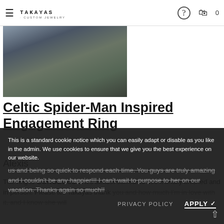TAKAYAS · Custom Jewelry — navigation bar with hamburger menu, help icon, cart icon, count 0
[Figure (photo): Outdoor photo of a person wearing casual clothing, partially visible, natural background]
Celtic Spider-Man Inspired Engagement Ring
Alexis
The ring is GORGEOUS!!! It's almost surreal to see it finally finished and in person! Please tell Takayas thank you and how much I'm in love with it, and I know she will be and being so quick to respond each time. You guys are truly amazing and I couldn't be any happier!!! I can't wait to purpose to her on our vacation. Thanks again so much!!
This is a standard cookie notice which you can easily adapt or disable as you like in the admin. We use cookies to ensure that we give you the best experience on our website.
PRIVACY POLICY    APPLY ✓